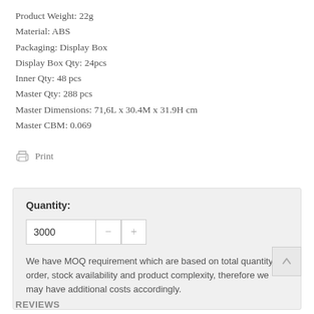Product Weight: 22g
Material: ABS
Packaging: Display Box
Display Box Qty: 24pcs
Inner Qty: 48 pcs
Master Qty: 288 pcs
Master Dimensions: 71,6L x 30.4M x 31.9H cm
Master CBM: 0.069
Print
Quantity: 3000
We have MOQ requirement which are based on total quantity order, stock availability and product complexity, therefore we may have additional costs accordingly.
REVIEWS